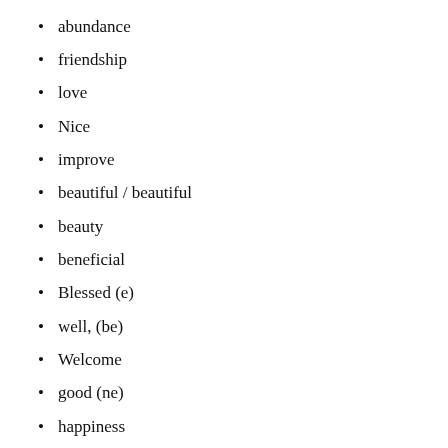abundance
friendship
love
Nice
improve
beautiful / beautiful
beauty
beneficial
Blessed (e)
well, (be)
Welcome
good (ne)
happiness
capable
heat
lucky